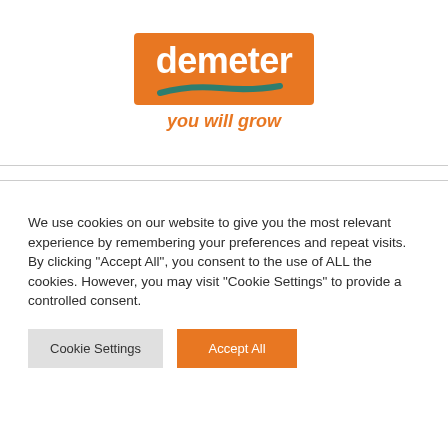[Figure (logo): Demeter logo: orange rectangle with white 'demeter' text and green swoosh, tagline 'you will grow' in orange italic below]
We use cookies on our website to give you the most relevant experience by remembering your preferences and repeat visits. By clicking "Accept All", you consent to the use of ALL the cookies. However, you may visit "Cookie Settings" to provide a controlled consent.
Cookie Settings | Accept All